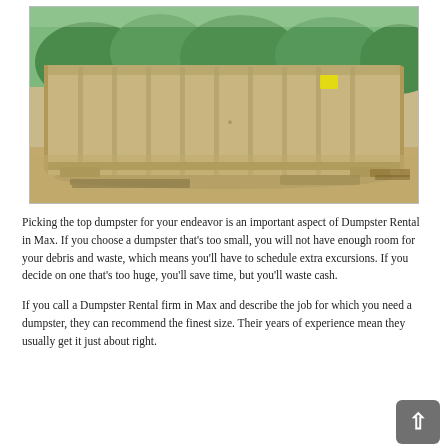[Figure (photo): A large tan/beige roll-off dumpster container sitting on a gravel/dirt surface with trees in the background. The dumpster is a rectangular open-top steel container with vertical ribbing.]
Picking the top dumpster for your endeavor is an important aspect of Dumpster Rental in Max. If you choose a dumpster that's too small, you will not have enough room for your debris and waste, which means you'll have to schedule extra excursions. If you decide on one that's too huge, you'll save time, but you'll waste cash.
If you call a Dumpster Rental firm in Max and describe the job for which you need a dumpster, they can recommend the finest size. Their years of experience mean they usually get it just about right.